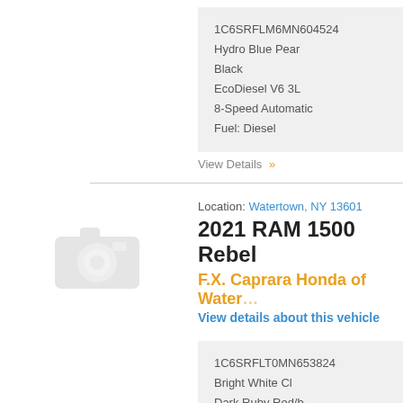1C6SRFLM6MN604524
Hydro Blue Pear
Black
EcoDiesel V6 3L
8-Speed Automatic
Fuel: Diesel
View Details »
Location: Watertown, NY 13601
2021 RAM 1500 Rebel
F.X. Caprara Honda of Watertown
View details about this vehicle
[Figure (photo): Placeholder camera icon for vehicle with no photo available]
1C6SRFLT0MN653824
Bright White Cl
Dark Ruby Red/b
HEMI V8 Multi Displacement VVT 5.